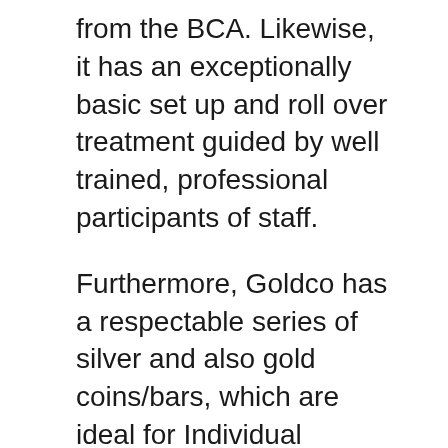from the BCA. Likewise, it has an exceptionally basic set up and roll over treatment guided by well trained, professional participants of staff.
Furthermore, Goldco has a respectable series of silver and also gold coins/bars, which are ideal for Individual retirement accounts – since these products are approved by the internal revenue service. If portfolio diversification attract you, as a result of worries you have about securities market volatility, Goldco is a great company to cater to your needs.
All the study we have done on Goldco offers us self-confidence that the services they supply will be helpful for your financial